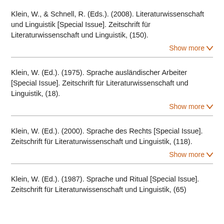Klein, W., & Schnell, R. (Eds.). (2008). Literaturwissenschaft und Linguistik [Special Issue]. Zeitschrift für Literaturwissenschaft und Linguistik, (150).
Show more
Klein, W. (Ed.). (1975). Sprache ausländischer Arbeiter [Special Issue]. Zeitschrift für Literaturwissenschaft und Linguistik, (18).
Show more
Klein, W. (Ed.). (2000). Sprache des Rechts [Special Issue]. Zeitschrift für Literaturwissenschaft und Linguistik, (118).
Show more
Klein, W. (Ed.). (1987). Sprache und Ritual [Special Issue]. Zeitschrift für Literaturwissenschaft und Linguistik, (65).